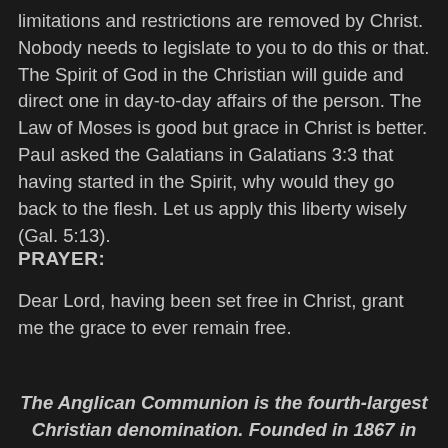limitations and restrictions are removed by Christ. Nobody needs to legislate to you to do this or that. The Spirit of God in the Christian will guide and direct one in day-to-day affairs of the person. The Law of Moses is good but grace in Christ is better. Paul asked the Galatians in Galatians 3:3 that having started in the Spirit, why would they go back to the flesh. Let us apply this liberty wisely (Gal. 5:13).
PRAYER:
Dear Lord, having been set free in Christ, grant me the grace to ever remain free.
The Anglican Communion is the fourth-largest Christian denomination. Founded in 1867 in